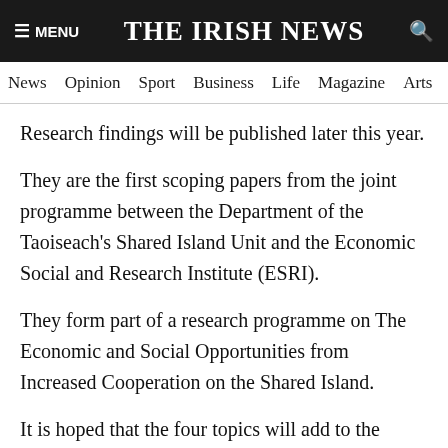THE IRISH NEWS
News  Opinion  Sport  Business  Life  Magazine  Arts
Research findings will be published later this year.
They are the first scoping papers from the joint programme between the Department of the Taoiseach's Shared Island Unit and the Economic Social and Research Institute (ESRI).
They form part of a research programme on The Economic and Social Opportunities from Increased Cooperation on the Shared Island.
It is hoped that the four topics will add to the understanding of current and potential linkages north and south in a range of economic, social and